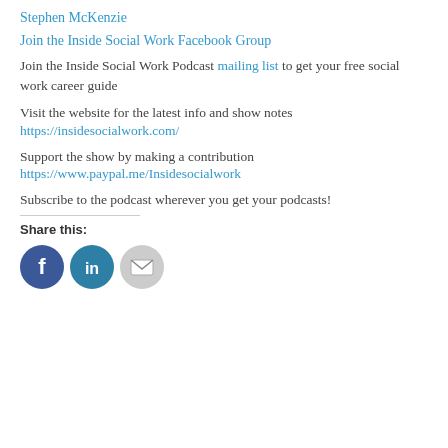Stephen McKenzie
Join the Inside Social Work Facebook Group
Join the Inside Social Work Podcast mailing list to get your free social work career guide
Visit the website for the latest info and show notes
https://insidesocialwork.com/
Support the show by making a contribution
https://www.paypal.me/Insidesocialwork
Subscribe to the podcast wherever you get your podcasts!
Share this:
[Figure (illustration): Three social sharing icon buttons: Facebook (blue circle with 'f'), LinkedIn (teal circle with 'in'), and Email (light grey circle with envelope icon)]